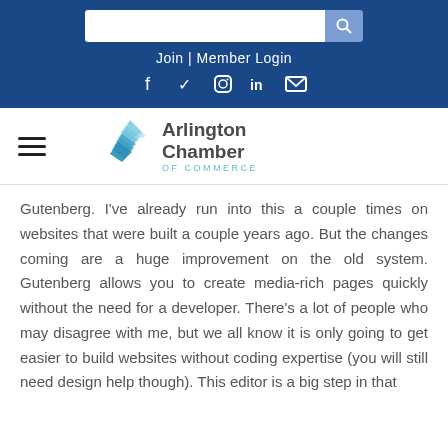[Figure (screenshot): Website header with search bar, Join | Member Login link, social media icons (Facebook, Twitter, Instagram, LinkedIn, Email) on dark blue background]
[Figure (logo): Arlington Chamber of Commerce logo with blue diamond/wave graphic and text]
Gutenberg. I've already run into this a couple times on websites that were built a couple years ago. But the changes coming are a huge improvement on the old system. Gutenberg allows you to create media-rich pages quickly without the need for a developer. There's a lot of people who may disagree with me, but we all know it is only going to get easier to build websites without coding expertise (you will still need design help though). This editor is a big step in that